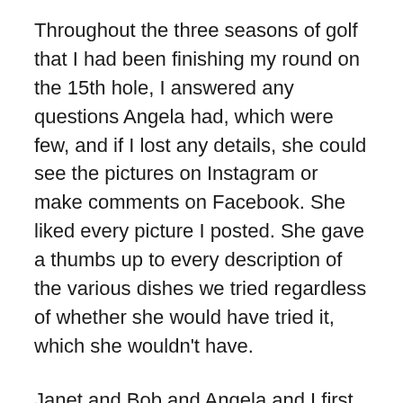Throughout the three seasons of golf that I had been finishing my round on the 15th hole, I answered any questions Angela had, which were few, and if I lost any details, she could see the pictures on Instagram or make comments on Facebook. She liked every picture I posted. She gave a thumbs up to every description of the various dishes we tried regardless of whether she would have tried it, which she wouldn't have.
Janet and Bob and Angela and I first met after we joined the club five years ago. Most of the members were older and we naturally gravitated to one another. Bob is a scratch golfer and we played together just once. He is one of those guys that doesn't say a word on the course, playing a mistake free round that was as uninspired -just straight 200 yard drives, greens in regulation with machine like regularity, and two putts. The only moment of drama